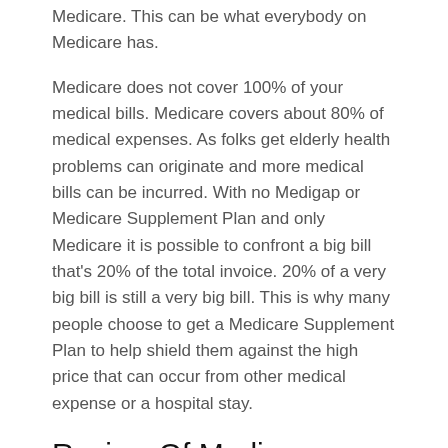Medicare. This can be what everybody on Medicare has.
Medicare does not cover 100% of your medical bills. Medicare covers about 80% of medical expenses. As folks get elderly health problems can originate and more medical bills can be incurred. With no Medigap or Medicare Supplement Plan and only Medicare it is possible to confront a big bill that’s 20% of the total invoice. 20% of a very big bill is still a very big bill. This is why many people choose to get a Medicare Supplement Plan to help shield them against the high price that can occur from other medical expense or a hospital stay.
Review Of Medicare Supplement Policies